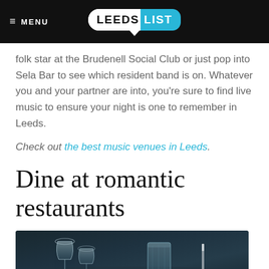MENU | LEEDS LIST
folk star at the Brudenell Social Club or just pop into Sela Bar to see which resident band is on. Whatever you and your partner are into, you're sure to find live music to ensure your night is one to remember in Leeds.
Check out the best music venues in Leeds.
Dine at romantic restaurants
[Figure (photo): Dark table setting with wine glasses, a tumbler glass, and a knife visible at a restaurant]